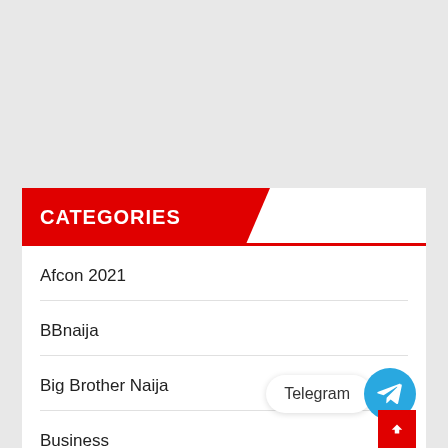CATEGORIES
Afcon 2021
BBnaija
Big Brother Naija
Business
[Figure (other): Telegram share button with circular blue icon and label 'Telegram', plus a red scroll-to-top arrow button]